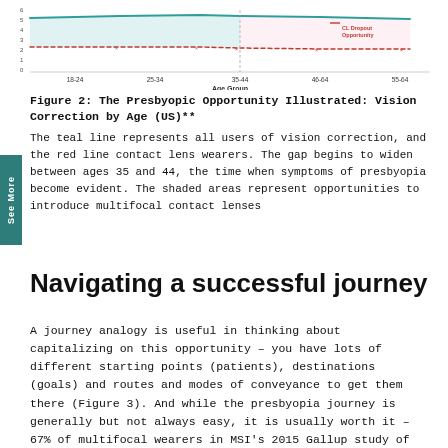[Figure (continuous-plot): Line chart showing vision correction by age group (US). A teal line represents all users of vision correction and a red dashed line represents contact lens wearers. The gap widens between ages 35-44. Shaded areas represent CL Dropout Opportunity. X-axis: Age Group (18-24, 25-34, 35-44, 46-64, 55-64). Y-axis: Percent.]
Figure 2: The Presbyopic Opportunity Illustrated: Vision Correction by Age (US)**
The teal line represents all users of vision correction, and the red line contact lens wearers. The gap begins to widen between ages 35 and 44, the time when symptoms of presbyopia become evident. The shaded areas represent opportunities to introduce multifocal contact lenses
Navigating a successful journey
A journey analogy is useful in thinking about capitalizing on this opportunity – you have lots of different starting points (patients), destinations (goals) and routes and modes of conveyance to get them there (Figure 3). And while the presbyopia journey is generally but not always easy, it is usually worth it – 67% of multifocal wearers in MSI's 2015 Gallup study of the US multi-focal contact lens market reported being very satisfied with their soft